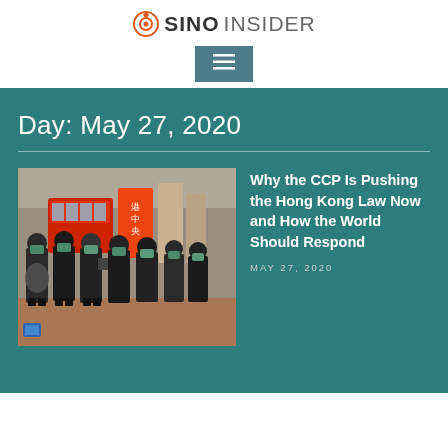SINO INSIDER
Day: May 27, 2020
[Figure (photo): Riot police in black uniforms and masks standing in formation on a street in Hong Kong, with a red double-decker bus and Chinese signage visible in the background]
Why the CCP Is Pushing the Hong Kong Law Now and How the World Should Respond
MAY 27, 2020